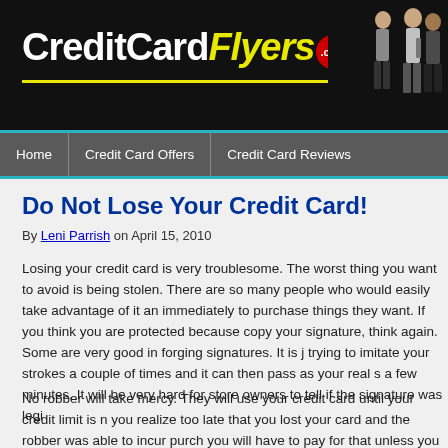CreditCardFlyers.com
Do Not Lose Your Credit Card!
By Leni Parrish on April 15, 2010
Losing your credit card is very troublesome. The worst thing you want to avoid is being stolen. There are so many people who would easily take advantage of it and immediately to purchase things they want. If you think you are protected because copy your signature, think again. Some are very good in forging signatures. It is j trying to imitate your strokes a couple of times and it can then pass as your real s a few minutes. It will be very hard for store owners to tell if the signature was legi
No robber will take mercy. They will use your credit card until your credit limit is n you realize too late that you lost your card and the robber was able to incur purch you will have to pay for that unless you can prove to your bank that that was not t all be a very tedious process even if you do become successful in reversing the